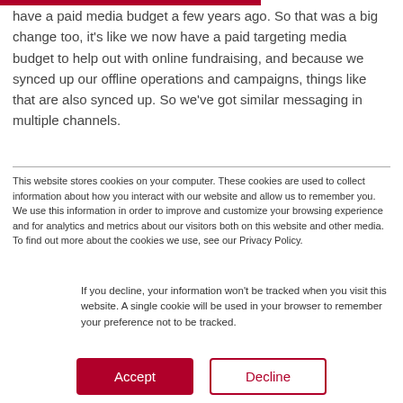have a paid media budget a few years ago. So that was a big change too, it's like we now have a paid targeting media budget to help out with online fundraising, and because we synced up our offline operations and campaigns, things like that are also synced up. So we've got similar messaging in multiple channels.
This website stores cookies on your computer. These cookies are used to collect information about how you interact with our website and allow us to remember you. We use this information in order to improve and customize your browsing experience and for analytics and metrics about our visitors both on this website and other media. To find out more about the cookies we use, see our Privacy Policy.
If you decline, your information won't be tracked when you visit this website. A single cookie will be used in your browser to remember your preference not to be tracked.